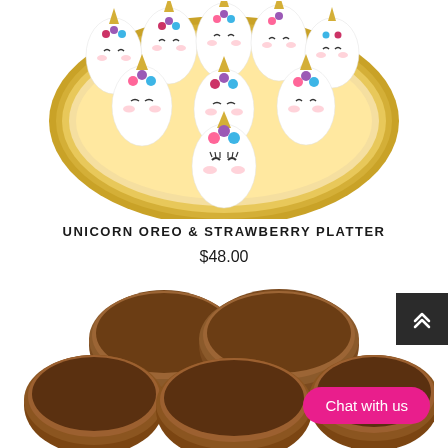[Figure (photo): Unicorn-decorated white chocolate dipped strawberries and Oreos arranged on a gold oval platter. Each piece is decorated with unicorn features: gold horns, floral crowns in pink, purple, and blue, and closed eyelashes.]
UNICORN OREO & STRAWBERRY PLATTER
$48.00
[Figure (photo): Chocolate-covered round treats (chocolate covered Oreos) stacked and arranged, showing round dark milk-chocolate coated discs from top and side angles.]